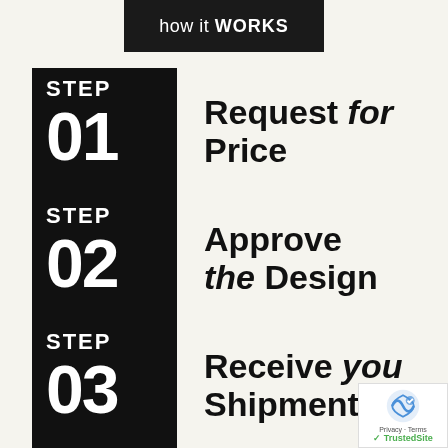how it WORKS
STEP 01 — Request for Price
STEP 02 — Approve the Design
STEP 03 — Receive your Shipment